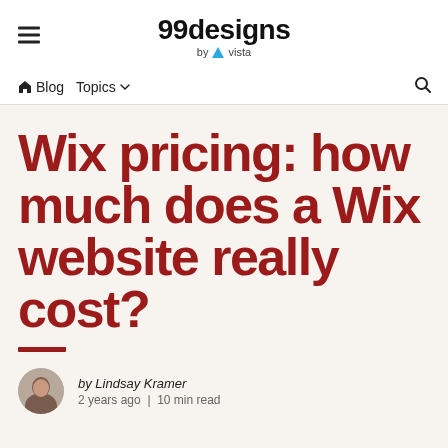99designs by vista
Blog  Topics  Search
Wix pricing: how much does a Wix website really cost?
by Lindsay Kramer
2 years ago | 10 min read